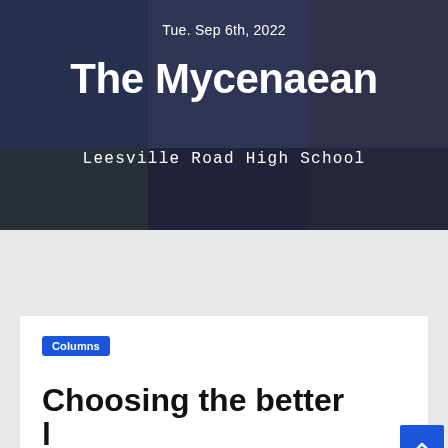Tue. Sep 6th, 2022
The Mycenaean
Leesville Road High School
[Figure (screenshot): Navigation bar with home icon, hamburger menu, and search icon on blue background]
Columns
Choosing the better...